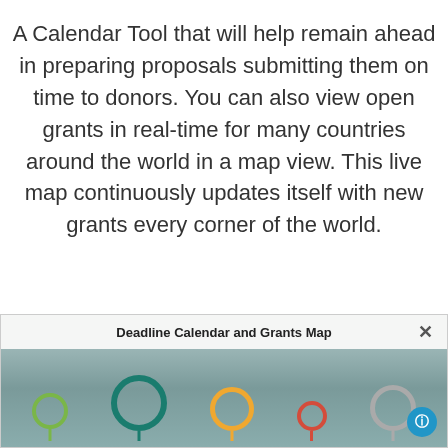A Calendar Tool that will help remain ahead in preparing proposals submitting them on time to donors. You can also view open grants in real-time for many countries around the world in a map view. This live map continuously updates itself with new grants every corner of the world.
[Figure (screenshot): Screenshot of a Deadline Calendar and Grants Map interface showing a world map with colored location pin icons (green, teal, orange, red, grey) and a close button (×) in the top right corner, and a blue help/info button in the bottom right.]